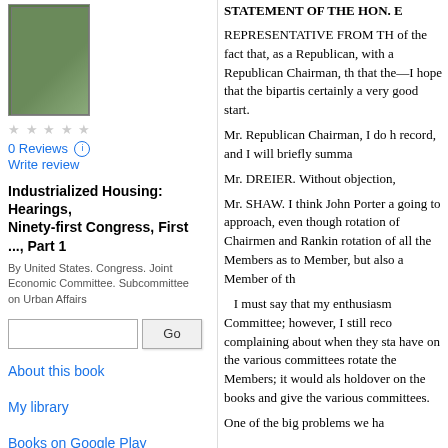[Figure (photo): Book cover thumbnail - green cover]
0 Reviews
Write review
Industrialized Housing: Hearings, Ninety-first Congress, First ..., Part 1
By United States. Congress. Joint Economic Committee. Subcommittee on Urban Affairs
About this book
My library
Books on Google Play
Terms of Service
STATEMENT OF THE HON. E
REPRESENTATIVE FROM TH of the fact that, as a Republican, with a Republican Chairman, th that the—I hope that the bipartis certainly a very good start.
Mr. Republican Chairman, I do h record, and I will briefly summa
Mr. DREIER. Without objection,
Mr. SHAW. I think John Porter a going to approach, even though rotation of Chairmen and Rankin rotation of all the Members as to Member, but also a Member of th
I must say that my enthusiasm Committee; however, I still reco complaining about when they sta have on the various committees rotate the Members; it would als holdover on the books and give the various committees.
One of the big problems we ha